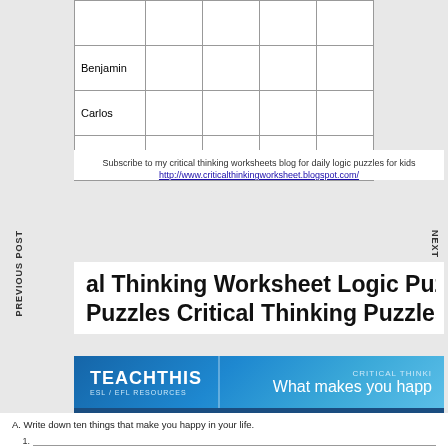|  |  |  |  |  |
| --- | --- | --- | --- | --- |
| Benjamin |  |  |  |  |
| Carlos |  |  |  |  |
| Sabrina |  |  |  |  |
Subscribe to my critical thinking worksheets blog for daily logic puzzles for kids
http://www.criticalthinkingworksheet.blogspot.com/
al Thinking Worksheet Logic Puzzles 34 Pdf Google Dr Puzzles Critical Thinking Puzzles For Kids
[Figure (logo): TEACHTHIS ESL/EFL RESOURCES banner with blue gradient background and 'What makes you happ' text on the right]
A. Write down ten things that make you happy in your life.
1.
2.
3.
4.
5.